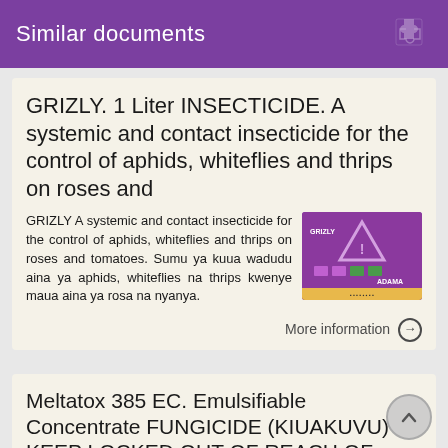Similar documents
GRIZLY. 1 Liter INSECTICIDE. A systemic and contact insecticide for the control of aphids, whiteflies and thrips on roses and
GRIZLY A systemic and contact insecticide for the control of aphids, whiteflies and thrips on roses and tomatoes. Sumu ya kuua wadudu aina ya aphids, whiteflies na thrips kwenye maua aina ya rosa na nyanya.
[Figure (photo): GRIZLY insecticide product label - purple packaging with triangle warning symbol and ADAMA branding]
More information →
Meltatox 385 EC. Emulsifiable Concentrate FUNGICIDE (KIUAKUVU) KEEP LOCKED OUT OF REACH OF CHILDREN WEKA MBALI
READ THE LABEL BEFORE USING SOMA
[Figure (photo): Meltatox 385 EC product label thumbnail]